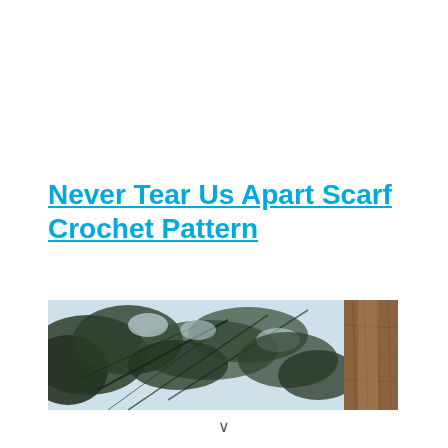Never Tear Us Apart Scarf Crochet Pattern
[Figure (photo): Wide horizontal photo of tree canopy viewed from below, showing dark branches with pine-like foliage against a bright sky, with a large brown tree trunk visible on the right side]